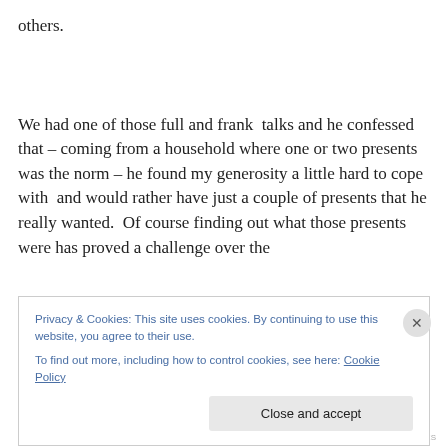others.

We had one of those full and frank  talks and he confessed that – coming from a household where one or two presents was the norm – he found my generosity a little hard to cope with  and would rather have just a couple of presents that he really wanted.  Of course finding out what those presents were has proved a challenge over the
Privacy & Cookies: This site uses cookies. By continuing to use this website, you agree to their use.
To find out more, including how to control cookies, see here: Cookie Policy